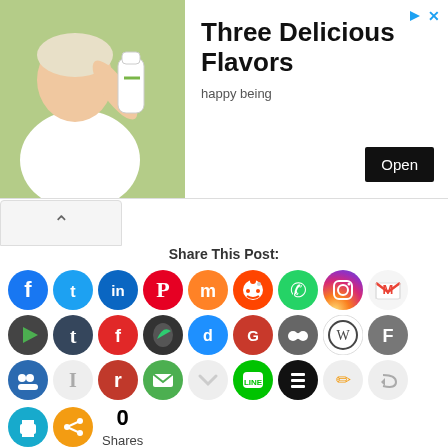[Figure (photo): Advertisement banner showing a person drinking from a white bottle on a green background, with text 'Three Delicious Flavors', subtitle 'happy being', and an 'Open' button. Has play and X icons in top right corner.]
[Figure (infographic): Social sharing widget with 'Share This Post:' label and four rows of social media icon circles (Facebook, Twitter, LinkedIn, Pinterest, Mix, Reddit, WhatsApp, Instagram, Gmail, and more), followed by a share count showing 0 Shares.]
0
Shares